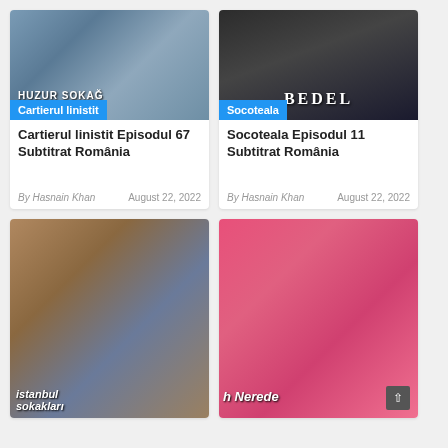[Figure (photo): Movie/TV show poster for Cartierul linistit (Huzur Sokağı) showing three actors]
Cartierul linistit
Cartierul linistit Episodul 67 Subtitrat România
By Hasnain Khan
August 22, 2022
[Figure (photo): Movie/TV show poster for Socoteala (Bedel) showing actors against dark background with triangle design]
Socoteala
Socoteala Episodul 11 Subtitrat România
By Hasnain Khan
August 22, 2022
[Figure (photo): TV show poster for Istanbul Sokakları showing group of actors with Istanbul skyline]
[Figure (photo): TV show poster with pink background showing two young actors and text 'h Nerede']